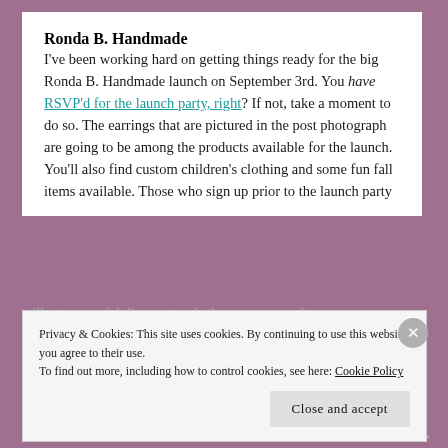Ronda B. Handmade
I've been working hard on getting things ready for the big Ronda B. Handmade launch on September 3rd. You have RSVP'd for the launch party, right? If not, take a moment to do so. The earrings that are pictured in the post photograph are going to be among the products available for the launch. You'll also find custom children's clothing and some fun fall items available. Those who sign up prior to the launch party will get a special discount code they can use on items
Privacy & Cookies: This site uses cookies. By continuing to use this website, you agree to their use.
To find out more, including how to control cookies, see here: Cookie Policy